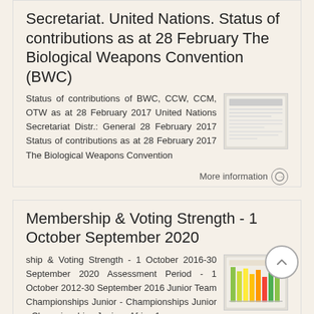Secretariat. United Nations. Status of contributions as at 28 February The Biological Weapons Convention (BWC)
Status of contributions of BWC, CCW, CCM, OTW as at 28 February 2017 United Nations Secretariat Distr.: General 28 February 2017 Status of contributions as at 28 February 2017 The Biological Weapons Convention
[Figure (screenshot): Thumbnail of a document page with table content]
More information →
Membership & Voting Strength - 1 October September 2020
ship & Voting Strength - 1 October 2016-30 September 2020 Assessment Period - 1 October 2012-30 September 2016 Junior Team Championships Junior - Championships Junior - Championships Junior - Africa 1
[Figure (screenshot): Thumbnail of a colorful bar chart or table with green, yellow, and red/orange colored columns]
More information →